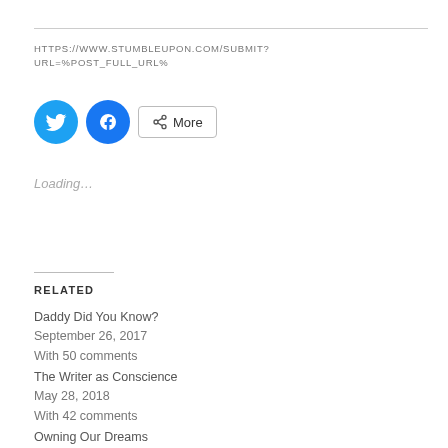HTTPS://WWW.STUMBLEUPON.COM/SUBMIT?URL=%POST_FULL_URL%
[Figure (other): Social sharing buttons: Twitter (blue circle with bird icon), Facebook (blue circle with f icon), and a More button with share icon]
Loading…
RELATED
Daddy Did You Know?
September 26, 2017
With 50 comments
The Writer as Conscience
May 28, 2018
With 42 comments
Owning Our Dreams